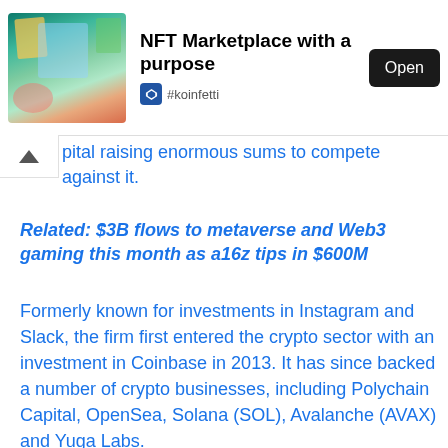[Figure (screenshot): NFT Marketplace app advertisement banner with colorful digital art image on the left, title 'NFT Marketplace with a purpose', Open button, and #koinfetti source label]
pital raising enormous sums to compete against it.
Related: $3B flows to metaverse and Web3 gaming this month as a16z tips in $600M
Formerly known for investments in Instagram and Slack, the firm first entered the crypto sector with an investment in Coinbase in 2013. It has since backed a number of crypto businesses, including Polychain Capital, OpenSea, Solana (SOL), Avalanche (AVAX) and Yuga Labs.